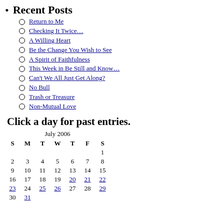Recent Posts
Return to Me
Checking It Twice…
A Willing Heart
Be the Change You Wish to See
A Spirit of Faithfulness
This Week in Be Still and Know…
Can't We All Just Get Along?
No Bull
Trash or Treasure
Non-Mutual Love
Click a day for past entries.
| S | M | T | W | T | F | S |
| --- | --- | --- | --- | --- | --- | --- |
|  |  |  |  |  |  | 1 |
| 2 | 3 | 4 | 5 | 6 | 7 | 8 |
| 9 | 10 | 11 | 12 | 13 | 14 | 15 |
| 16 | 17 | 18 | 19 | 20 | 21 | 22 |
| 23 | 24 | 25 | 26 | 27 | 28 | 29 |
| 30 | 31 |  |  |  |  |  |